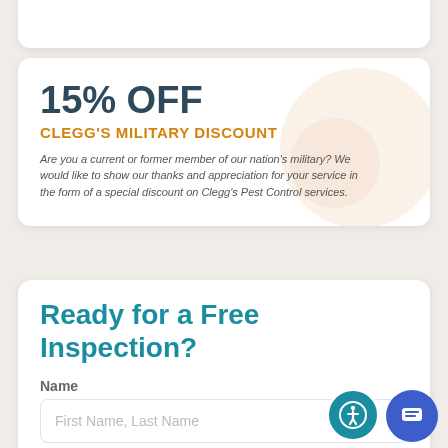15% OFF
CLEGG'S MILITARY DISCOUNT
Are you a current or former member of our nation's military? We would like to show our thanks and appreciation for your service in the form of a special discount on Clegg's Pest Control services.
Ready for a Free Inspection?
Name
First Name, Last Name
Email
Phone
Email
Phone